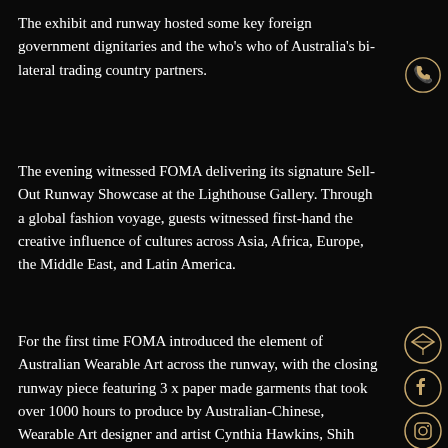The exhibit and runway hosted some key foreign government dignitaries and the who's who of Australia's bi-lateral trading country partners.
The evening witnessed FOMA delivering its signature Sell-Out Runway Showcase at the Lighthouse Gallery. Through a global fashion voyage, guests witnessed first-hand the creative influence of cultures across Asia, Africa, Europe, the Middle East, and Latin America.
For the first time FOMA introduced the element of Australian Wearable Art across the runway, with the closing runway piece featuring 3 x paper made garments that took over 1000 hours to produce by Australian-Chinese, Wearable Art designer and artist Cynthia Hawkins, Shih Atelier. Cynthia's family are descended from the Yang General Family who history tells us was famous
[Figure (other): Phone icon in an outlined circle - social media contact icon]
[Figure (other): Social media icons column: Layers/diamond icon, Facebook icon, Instagram icon, LinkedIn icon, WeChat icon - all in outlined circles with gold/bronze color]